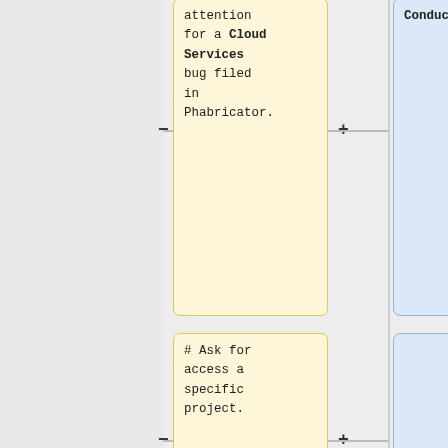attention for a Cloud Services bug filed in Phabricator.
Conduct ==
# Ask for access a specific project.
By participating in the IRC channel you agree to adhere to the following: